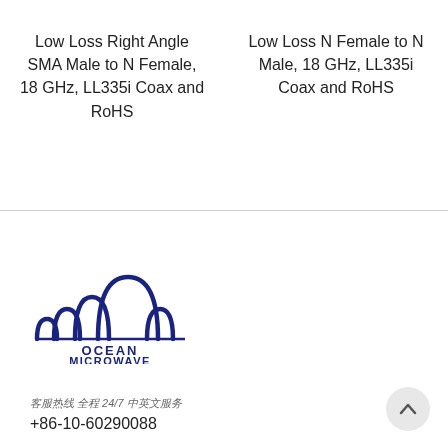Low Loss Right Angle SMA Male to N Female, 18 GHz, LL335i Coax and RoHS
Low Loss N Female to N Male, 18 GHz, LL335i Coax and RoHS
[Figure (logo): Ocean Microwave logo with arch/wave motif above text OCEAN MICROWAVE]
客服热线 全程 24/7 中英文服务
+86-10-60290088